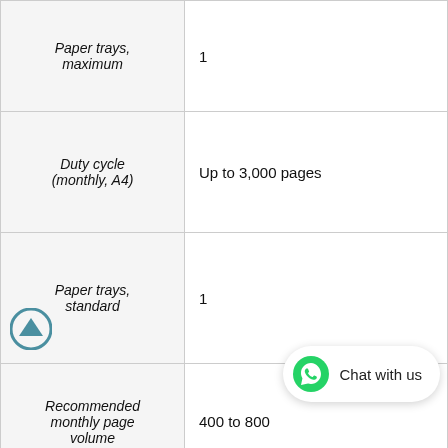| Specification | Value |
| --- | --- |
| Paper trays, maximum | 1 |
| Duty cycle (monthly, A4) | Up to 3,000 pages |
| Paper trays, standard | 1 |
| Recommended monthly page volume | 400 to 800 |
| Print technology | HP Thermal Inkjet |
| Duplex printing | Automatic |